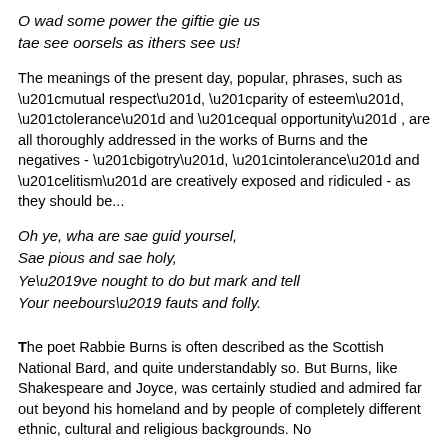O wad some power the giftie gie us
tae see oorsels as ithers see us!
The meanings of the present day, popular, phrases, such as “mutual respect”, “parity of esteem”, “tolerance” and “equal opportunity” , are all thoroughly addressed in the works of Burns and the negatives - “bigotry”, “intolerance” and “elitism” are creatively exposed and ridiculed - as they should be...
Oh ye, wha are sae guid yoursel,
Sae pious and sae holy,
Ye’ve nought to do but mark and tell
Your neebours’ fauts and folly.
The poet Rabbie Burns is often described as the Scottish National Bard, and quite understandably so. But Burns, like Shakespeare and Joyce, was certainly studied and admired far out beyond his homeland and by people of completely different ethnic, cultural and religious backgrounds. No